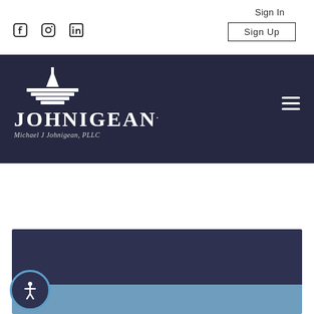[Figure (logo): Social media icons: Facebook, Instagram, LinkedIn]
Sign In
Sign Up
[Figure (logo): Johnigean law firm logo with building icon, text: JOHNIGEAN Michael J Johnigean, PLLC]
[Figure (other): Dark navy banner section and blue section at bottom of page with accessibility button]